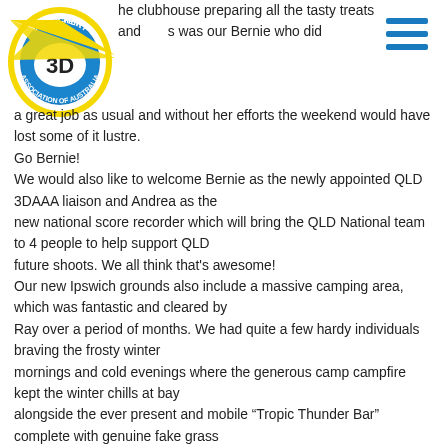[Figure (logo): 3D Archery Association of Australia circular logo with yellow and blue colors, featuring '3D' text in center]
he clubhouse preparing all the tasty treats and as was our Bernie who did a great job as usual and without her efforts the weekend would have lost some of it lustre.
Go Bernie!
We would also like to welcome Bernie as the newly appointed QLD 3DAAA liaison and Andrea as the new national score recorder which will bring the QLD National team to 4 people to help support QLD future shoots. We all think that's awesome!
Our new Ipswich grounds also include a massive camping area, which was fantastic and cleared by Ray over a period of months. We had quite a few hardy individuals braving the frosty winter mornings and cold evenings where the generous camp campfire kept the winter chills at bay alongside the ever present and mobile "Tropic Thunder Bar" complete with genuine fake grass umbrella. The evenings music and signing and laughing around the bar and fire saw the re-appearance of the celebrity, Ray Charles! who was later